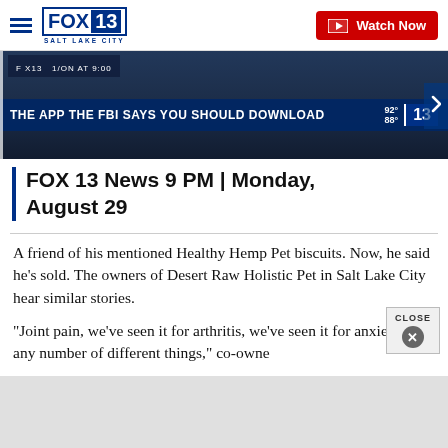FOX 13 SALT LAKE CITY | Watch Now
[Figure (screenshot): FOX 13 news broadcast screenshot showing chyron: THE APP THE FBI SAYS YOU SHOULD DOWNLOAD, with weather 92/88 and logo 13]
FOX 13 News 9 PM | Monday, August 29
A friend of his mentioned Healthy Hemp Pet biscuits. Now, he said he's sold. The owners of Desert Raw Holistic Pet in Salt Lake City hear similar stories.
"Joint pain, we've seen it for arthritis, we've seen it for anxiety—any number of different things," co-owne